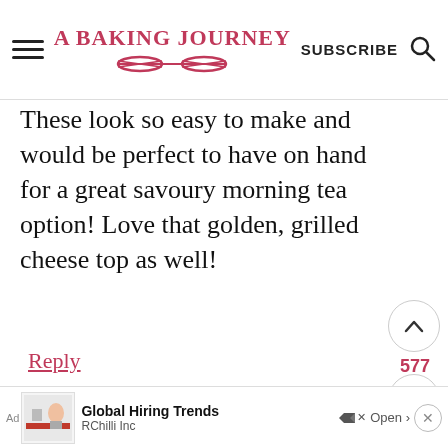A BAKING JOURNEY | SUBSCRIBE
These look so easy to make and would be perfect to have on hand for a great savoury morning tea option! Love that golden, grilled cheese top as well!
Reply
577
A Baking Journey says
June 09, 2020 at 2:30 pm
Ad  Global Hiring Trends  RChilli Inc  Open